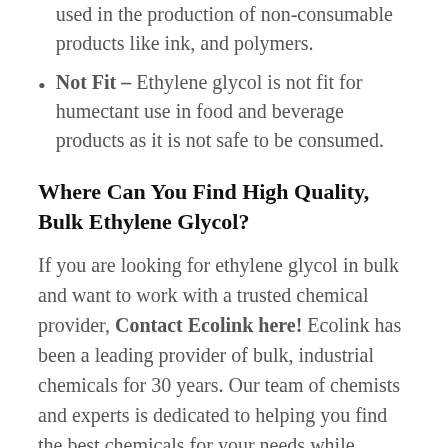used in the production of non-consumable products like ink, and polymers.
Not Fit – Ethylene glycol is not fit for humectant use in food and beverage products as it is not safe to be consumed.
Where Can You Find High Quality, Bulk Ethylene Glycol?
If you are looking for ethylene glycol in bulk and want to work with a trusted chemical provider, Contact Ecolink here! Ecolink has been a leading provider of bulk, industrial chemicals for 30 years. Our team of chemists and experts is dedicated to helping you find the best chemicals for your needs while providing all necessary information to ensure proper use, and the safety